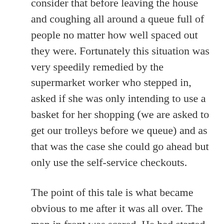consider that before leaving the house and coughing all around a queue full of people no matter how well spaced out they were. Fortunately this situation was very speedily remedied by the supermarket worker who stepped in, asked if she was only intending to use a basket for her shopping (we are asked to get our trolleys before we queue) and as that was the case she could go ahead but only use the self-service checkouts.
The point of this tale is what became obvious to me after it was all over. The man in front was scared. He had started a barney because of his fear. All of that seems reasonable and obvious now, but under different